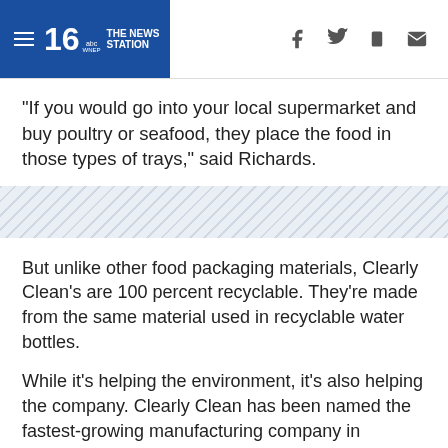16 abc THE NEWS STATION
"If you would go into your local supermarket and buy poultry or seafood, they place the food in those types of trays," said Richards.
[Figure (other): Diagonal stripe decorative divider band]
But unlike other food packaging materials, Clearly Clean's are 100 percent recyclable. They're made from the same material used in recyclable water bottles.
While it's helping the environment, it's also helping the company. Clearly Clean has been named the fastest-growing manufacturing company in northeastern Pennsylvania for the last two years, with more than 200 employees between Orwigsburg and Frackville.